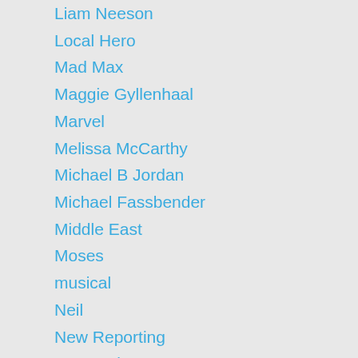Liam Neeson
Local Hero
Mad Max
Maggie Gyllenhaal
Marvel
Melissa McCarthy
Michael B Jordan
Michael Fassbender
Middle East
Moses
musical
Neil
New Reporting
New York
New Zealand
Patrick Harris
Philip Seymour Hoffman
Robot
Rosamund Pike
Run Lola Run
Samuel Johnson